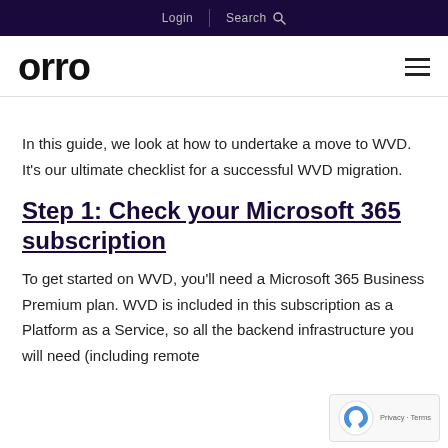Login | Search
[Figure (logo): orro logo in black bold text, with hamburger menu icon on right]
In this guide, we look at how to undertake a move to WVD. It’s our ultimate checklist for a successful WVD migration.
Step 1: Check your Microsoft 365 subscription
To get started on WVD, you’ll need a Microsoft 365 Business Premium plan. WVD is included in this subscription as a Platform as a Service, so all the backend infrastructure you will need (including remote